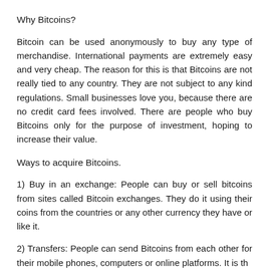Why Bitcoins?
Bitcoin can be used anonymously to buy any type of merchandise. International payments are extremely easy and very cheap. The reason for this is that Bitcoins are not really tied to any country. They are not subject to any kind regulations. Small businesses love you, because there are no credit card fees involved. There are people who buy Bitcoins only for the purpose of investment, hoping to increase their value.
Ways to acquire Bitcoins.
1) Buy in an exchange: People can buy or sell bitcoins from sites called Bitcoin exchanges. They do it using their coins from the countries or any other currency they have or like it.
2) Transfers: People can send Bitcoins from each other for their mobile phones, computers or online platforms. It is th